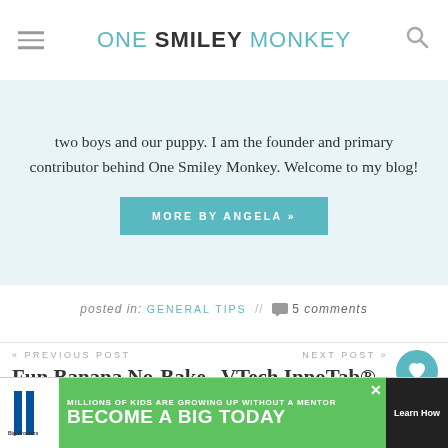ONE SMILEY MONKEY
two boys and our puppy. I am the founder and primary contributor behind One Smiley Monkey. Welcome to my blog!
MORE BY ANGELA »
posted in: GENERAL TIPS // 💬 5 comments
« PREVIOUS POST
Fun Banana No-Bake Cupcakes!
NEXT POST »
VTech InnoTab® - Wi-Fi Learnin...
[Figure (infographic): Advertisement for Big Brothers Big Sisters: 'MILLIONS OF KIDS ARE GROWING UP WITHOUT A MENTOR. BECOME A BIG TODAY' with Learn How button]